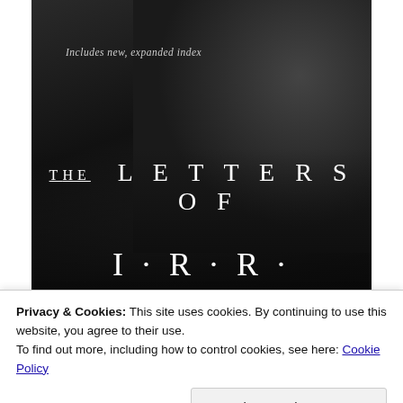[Figure (photo): Black and white book cover showing an elderly man (J.R.R. Tolkien) in profile, with text 'Includes new, expanded index', 'THE LETTERS OF' and 'I·R·R·' displayed over the photograph.]
Privacy & Cookies: This site uses cookies. By continuing to use this website, you agree to their use.
To find out more, including how to control cookies, see here: Cookie Policy
Close and accept